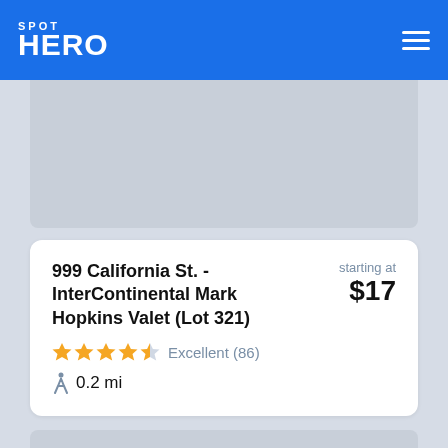SPOT HERO
[Figure (photo): Gray placeholder image at top]
999 California St. - InterContinental Mark Hopkins Valet (Lot 321) | starting at $17 | Excellent (86) | 0.2 mi
[Figure (photo): Gray placeholder image at bottom]